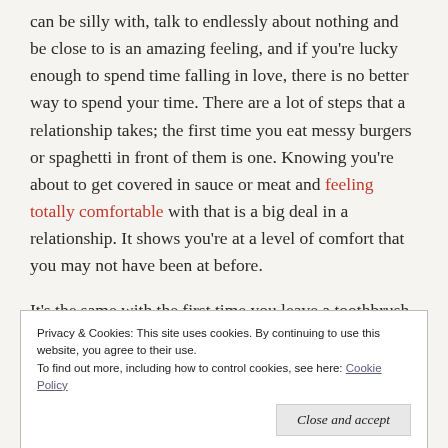can be silly with, talk to endlessly about nothing and be close to is an amazing feeling, and if you're lucky enough to spend time falling in love, there is no better way to spend your time. There are a lot of steps that a relationship takes; the first time you eat messy burgers or spaghetti in front of them is one. Knowing you're about to get covered in sauce or meat and feeling totally comfortable with that is a big deal in a relationship. It shows you're at a level of comfort that you may not have been at before.
It's the same with the first time you leave a toothbrush in their apartment; you know you've been there a lot, they know you've
Privacy & Cookies: This site uses cookies. By continuing to use this website, you agree to their use. To find out more, including how to control cookies, see here: Cookie Policy
but there are plenty of signs that you are ready for the big step